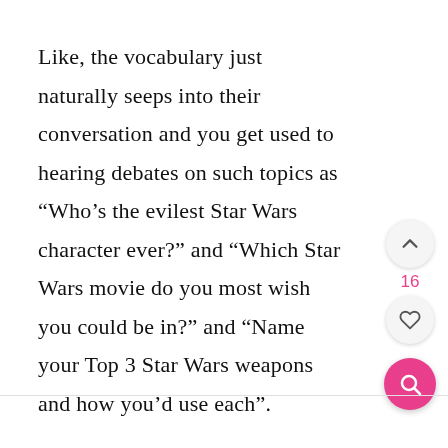Like, the vocabulary just naturally seeps into their conversation and you get used to hearing debates on such topics as “Who’s the evilest Star Wars character ever?” and “Which Star Wars movie do you most wish you could be in?” and “Name your Top 3 Star Wars weapons and how you’d use each”.
[Figure (other): UI navigation controls: an upward chevron button, a count label showing 16, a heart/like button, and a pink circular search button with magnifying glass icon]